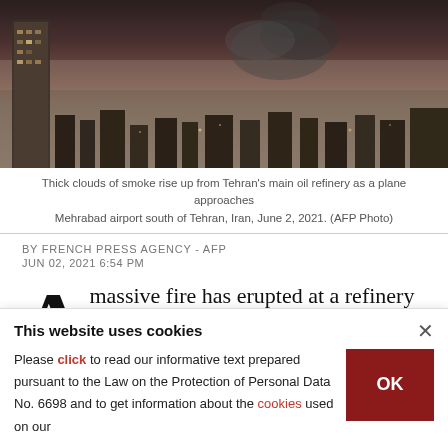[Figure (photo): Aerial view of Tehran cityscape at dusk with smoke rising from oil refinery, tall building visible on left, dense urban sprawl across the frame.]
Thick clouds of smoke rise up from Tehran's main oil refinery as a plane approaches Mehrabad airport south of Tehran, Iran, June 2, 2021. (AFP Photo)
BY FRENCH PRESS AGENCY - AFP
JUN 02, 2021 6:54 PM
A massive fire has erupted at a refinery in southern Tehran after a leak in a liquefied
This website uses cookies
Please click to read our informative text prepared pursuant to the Law on the Protection of Personal Data No. 6698 and to get information about the cookies used on our